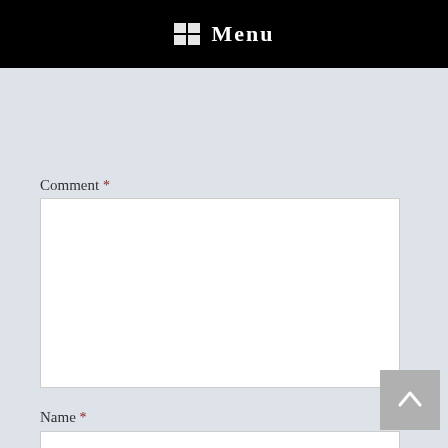Menu
Comment *
[Figure (screenshot): Empty comment textarea input box with resize handle in bottom-right corner]
Name *
[Figure (screenshot): Empty name text input field]
Email *
[Figure (screenshot): Partially visible empty email text input field at page bottom]
[Figure (other): Scroll-to-top button with upward arrow chevron, gray background]